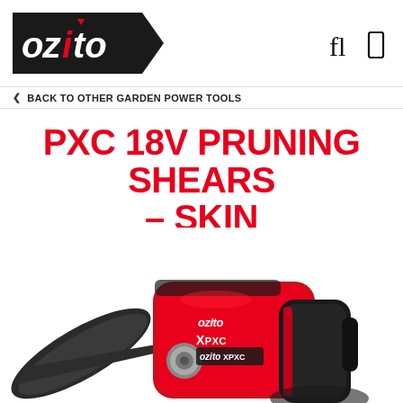[Figure (logo): Ozito brand logo — white italic text on black pentagon/arrow shape with red accent triangle]
❮ BACK TO OTHER GARDEN POWER TOOLS
PXC 18V PRUNING SHEARS – SKIN
[Figure (photo): Ozito PXC 18V Pruning Shears product photo showing red and black cordless pruning shears with the ozito XPXC branding, blades open, viewed from front-left angle]